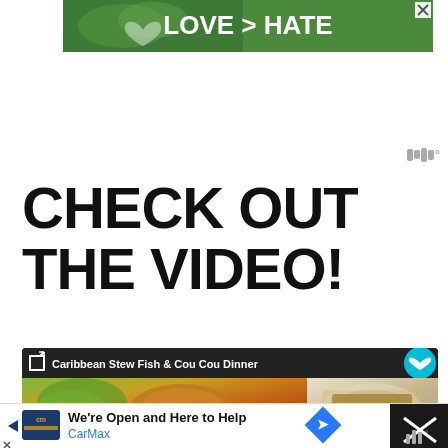[Figure (photo): Advertisement banner showing two hands making a heart shape with green trees in background, text reads LOVE > HATE with an X close button]
[Figure (logo): Weather widget showing bar graph icon with degree symbol, gray color]
CHECK OUT THE VIDEO!
[Figure (screenshot): Video card with dark header showing Caribbean Stew Fish & Cou Cou Dinner title, teal heart/save button, food photos showing stew fish with vegetables and a breaded item on a decorative plate, pink share button]
[Figure (photo): Bottom advertisement for CarMax: We're Open and Here to Help, CarMax brand name in blue, with navigation arrow icon and X close button on dark background on right]